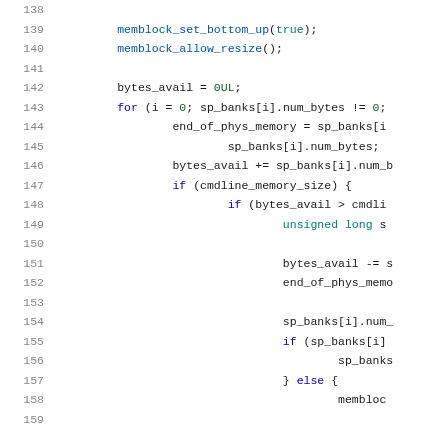[Figure (screenshot): Source code listing showing C code lines 138-158 with line numbers, featuring memory management functions including memblock_set_bottom_up, memblock_allow_resize, bytes_avail, sp_banks, cmdline_memory_size handling with syntax highlighting in monospace font.]